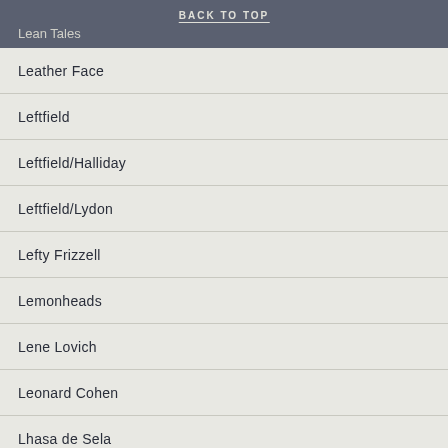BACK TO TOP
Lean Tales
Leather Face
Leftfield
Leftfield/Halliday
Leftfield/Lydon
Lefty Frizzell
Lemonheads
Lene Lovich
Leonard Cohen
Lhasa de Sela
Liaisons Dangereuses
Libertines
Lidsville